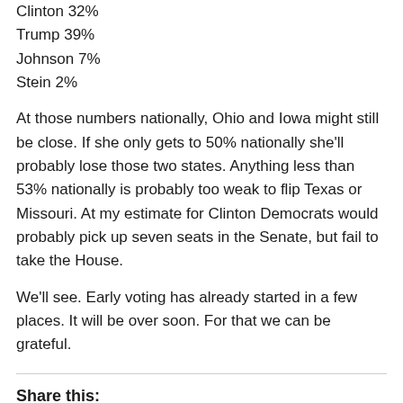Clinton 32%
Trump 39%
Johnson 7%
Stein 2%
At those numbers nationally, Ohio and Iowa might still be close. If she only gets to 50% nationally she'll probably lose those two states. Anything less than 53% nationally is probably too weak to flip Texas or Missouri. At my estimate for Clinton Democrats would probably pick up seven seats in the Senate, but fail to take the House.
We'll see. Early voting has already started in a few places. It will be over soon. For that we can be grateful.
Share this: